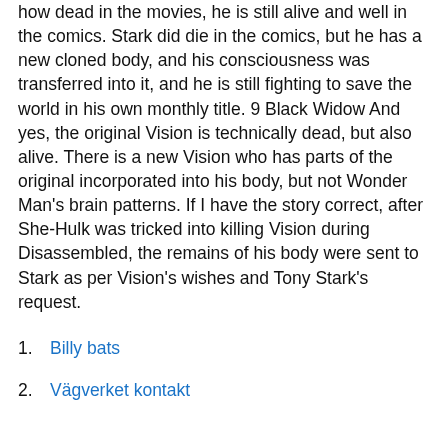how dead in the movies, he is still alive and well in the comics. Stark did die in the comics, but he has a new cloned body, and his consciousness was transferred into it, and he is still fighting to save the world in his own monthly title. 9 Black Widow And yes, the original Vision is technically dead, but also alive. There is a new Vision who has parts of the original incorporated into his body, but not Wonder Man's brain patterns. If I have the story correct, after She-Hulk was tricked into killing Vision during Disassembled, the remains of his body were sent to Stark as per Vision's wishes and Tony Stark's request.
Billy bats
Vägverket kontakt